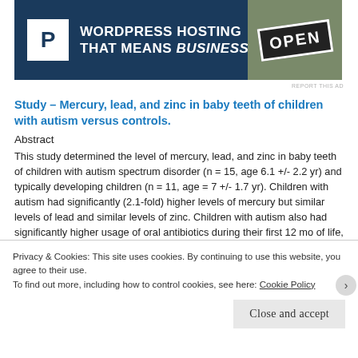[Figure (other): WordPress Hosting advertisement banner with blue background, Pressable logo P, text 'WORDPRESS HOSTING THAT MEANS BUSINESS.' and an OPEN sign photo on the right]
Study – Mercury, lead, and zinc in baby teeth of children with autism versus controls.
Abstract
This study determined the level of mercury, lead, and zinc in baby teeth of children with autism spectrum disorder (n = 15, age 6.1 +/- 2.2 yr) and typically developing children (n = 11, age = 7 +/- 1.7 yr). Children with autism had significantly (2.1-fold) higher levels of mercury but similar levels of lead and similar levels of zinc. Children with autism also had significantly higher usage of oral antibiotics during their first 12 mo of life, and possibly higher usage of oral antibiotics during their first 36 mo of life. Baby teeth are a good measure of cumulative exposure to toxic metals during fetal development and early infancy, so this study suggests that
Privacy & Cookies: This site uses cookies. By continuing to use this website, you agree to their use.
To find out more, including how to control cookies, see here: Cookie Policy
Close and accept